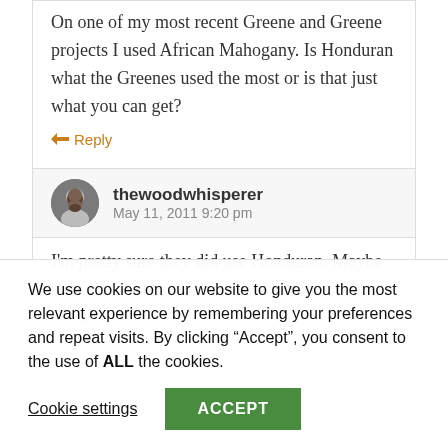On one of my most recent Greene and Greene projects I used African Mahogany. Is Honduran what the Greenes used the most or is that just what you can get?
Reply
thewoodwhisperer
May 11, 2011 9:20 pm
I'm pretty sure they did use Honduran. Maybe someone with a little more historical knowledge can
We use cookies on our website to give you the most relevant experience by remembering your preferences and repeat visits. By clicking “Accept”, you consent to the use of ALL the cookies.
Cookie settings
ACCEPT